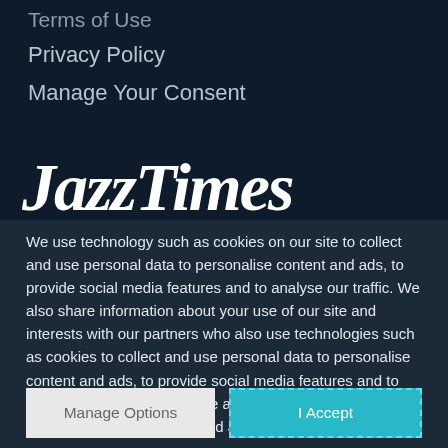Terms of Use
Privacy Policy
Manage Your Consent
[Figure (logo): JazzTimes logo in large white bold italic serif font on dark background]
We use technology such as cookies on our site to collect and use personal data to personalise content and ads, to provide social media features and to analyse our traffic. We also share information about your use of our site and interests with our partners who also use technologies such as cookies to collect and use personal data to personalise content and ads, to provide social media features and to analyse our traffic on our site and across the internet. You can always change your mind and revisit your choices.
Manage Options
I Accept